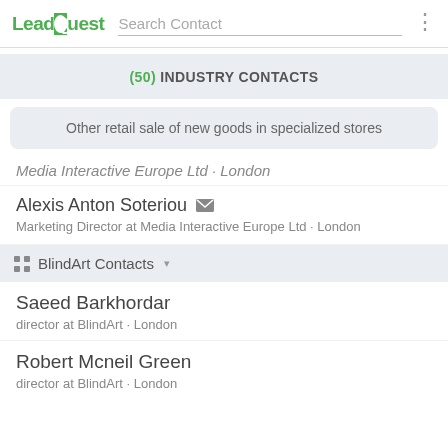LeadQuest — Search Contact
(50) INDUSTRY CONTACTS
Other retail sale of new goods in specialized stores
Media Interactive Europe Ltd · London
Alexis Anton Soteriou
Marketing Director at Media Interactive Europe Ltd · London
BlindArt Contacts
Saeed Barkhordar
director at BlindArt · London
Robert Mcneil Green
director at BlindArt · London